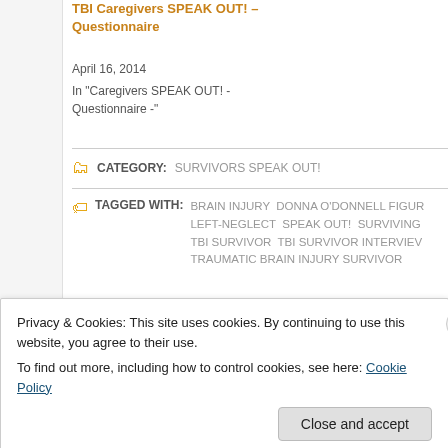TBI Caregivers SPEAK OUT! – Questionnaire
April 16, 2014
In "Caregivers SPEAK OUT! - Questionnaire -"
CATEGORY: SURVIVORS SPEAK OUT!
TAGGED WITH: BRAIN INJURY  DONNA O'DONNELL FIGUR  LEFT-NEGLECT  SPEAK OUT!  SURVIVING  TBI SURVIVOR  TBI SURVIVOR INTERVIEW  TRAUMATIC BRAIN INJURY SURVIVOR
TBI TALES: ONE USABLE HAND ... CAREGIVERS SPE...
Privacy & Cookies: This site uses cookies. By continuing to use this website, you agree to their use.
To find out more, including how to control cookies, see here: Cookie Policy
Close and accept